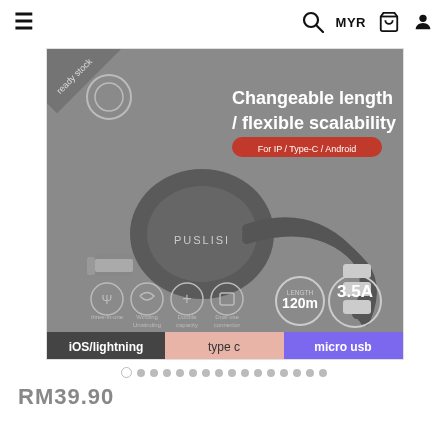≡  Q  MYR  🛒  👤
[Figure (photo): Product photo of a 3-in-1 retractable USB charging cable in grey/dark color. Text on image reads: 'Changeable length / flexible scalability', 'For IP / Type-C / Android', 'PUSLISI', 'LENGTH 120m', '3.5A MAX'. Bottom bar shows three connector types: iOS/lightning (dark), type c (pink), micro usb (purple). Features icons shown at bottom: three-in-one, Winding Unwinding, Double capacity, Dual use connector.]
RM39.90